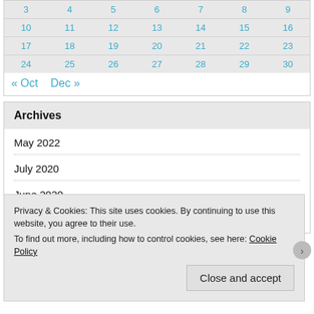|  |  |  |  |  |  |  |
| --- | --- | --- | --- | --- | --- | --- |
| 3 | 4 | 5 | 6 | 7 | 8 | 9 |
| 10 | 11 | 12 | 13 | 14 | 15 | 16 |
| 17 | 18 | 19 | 20 | 21 | 22 | 23 |
| 24 | 25 | 26 | 27 | 28 | 29 | 30 |
« Oct   Dec »
Archives
May 2022
July 2020
June 2020
Privacy & Cookies: This site uses cookies. By continuing to use this website, you agree to their use. To find out more, including how to control cookies, see here: Cookie Policy
Close and accept